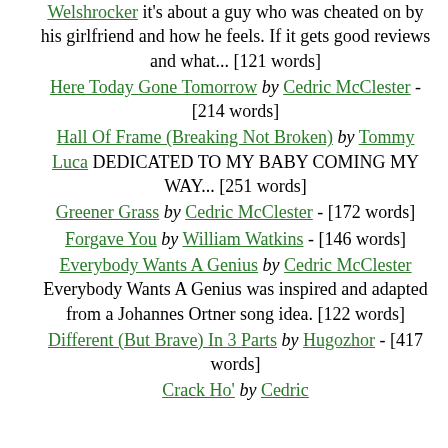Welshrocker it's about a guy who was cheated on by his girlfriend and how he feels. If it gets good reviews and what... [121 words]
Here Today Gone Tomorrow by Cedric McClester - [214 words]
Hall Of Frame (Breaking Not Broken) by Tommy Luca DEDICATED TO MY BABY COMING MY WAY... [251 words]
Greener Grass by Cedric McClester - [172 words]
Forgave You by William Watkins - [146 words]
Everybody Wants A Genius by Cedric McClester Everybody Wants A Genius was inspired and adapted from a Johannes Ortner song idea. [122 words]
Different (But Brave) In 3 Parts by Hugozhor - [417 words]
Crack Ho' by Cedric ...